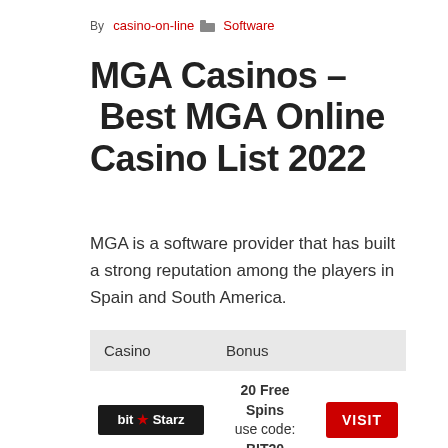By casino-on-line  Software
MGA Casinos – Best MGA Online Casino List 2022
MGA is a software provider that has built a strong reputation among the players in Spain and South America.
| Casino | Bonus |  |
| --- | --- | --- |
| bit★Starz | 20 Free Spins use code: BIT20 | VISIT |
|  | 100% UP TO 150 EUR | VISIT |